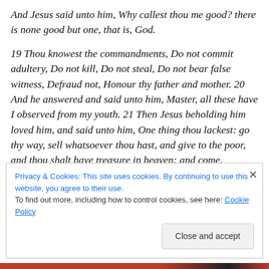And Jesus said unto him, Why callest thou me good? there is none good but one, that is, God.

19 Thou knowest the commandments, Do not commit adultery, Do not kill, Do not steal, Do not bear false witness, Defraud not, Honour thy father and mother. 20 And he answered and said unto him, Master, all these have I observed from my youth. 21 Then Jesus beholding him loved him, and said unto him, One thing thou lackest: go thy way, sell whatsoever thou hast, and give to the poor, and thou shalt have treasure in heaven: and come,
Privacy & Cookies: This site uses cookies. By continuing to use this website, you agree to their use.
To find out more, including how to control cookies, see here: Cookie Policy
Close and accept